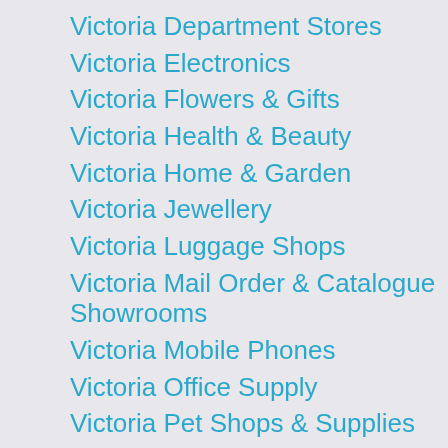Victoria Department Stores
Victoria Electronics
Victoria Flowers & Gifts
Victoria Health & Beauty
Victoria Home & Garden
Victoria Jewellery
Victoria Luggage Shops
Victoria Mail Order & Catalogue Showrooms
Victoria Mobile Phones
Victoria Office Supply
Victoria Pet Shops & Supplies
Victoria Photography
Victoria Shoes
Victoria Shopping Centres